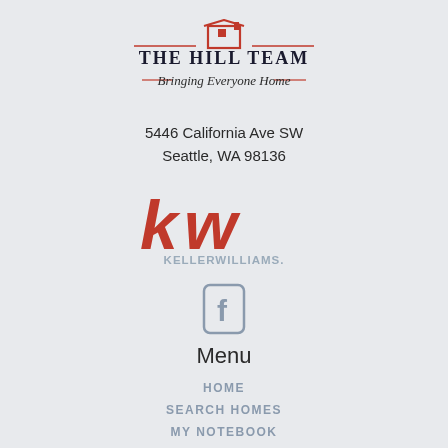[Figure (logo): The Hill Team logo with a red house icon and script tagline 'Bringing Everyone Home']
5446 California Ave SW
Seattle, WA 98136
[Figure (logo): Keller Williams kw logo in red with KELLERWILLIAMS. text in gray]
[Figure (logo): Facebook icon in gray]
Menu
HOME
SEARCH HOMES
MY NOTEBOOK
ABOUT